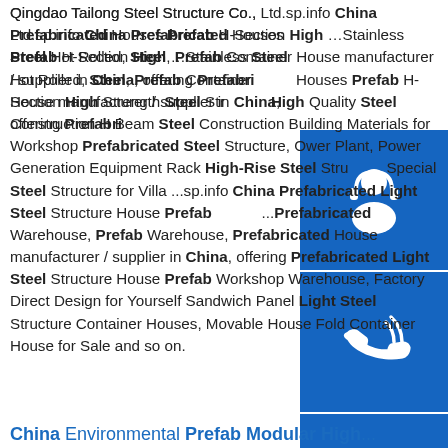Qingdao Tailong Steel Structure Co., Ltd.sp.info China Prefabricated Houses Prefab H-Section High ...Stainless Steel Hot Rolled, Steel, Prefab Container House manufacturer / supplier in China, offering Prefabricated Houses Prefab H-Section High Strength Steel Structure High Quality Steel Construction H Beam Steel Construction Building Materials for Workshop Prefabricated Steel Structure, Ower Plant, Power Generation Equipment Rack High-Rise Steel Structure Special Steel Structure for Villa ...sp.info China Prefabricated Light Steel Structure House Prefab ...Prefabricated Warehouse, Prefab Warehouse, Prefabricated House manufacturer / supplier in China, offering Prefabricated Light Steel Structure House Prefab Workshop Warehouse, Factory Direct Design for Yourself Sandwich Panel Light Steel Structure Container Houses, Movable House Fold Container House for Sale and so on.
[Figure (illustration): Blue square icon with white customer service / headset person silhouette]
[Figure (illustration): Blue square icon with white phone / call icon]
[Figure (illustration): Blue square icon with white Skype logo 'S']
China Environmental Prefab Modular High...